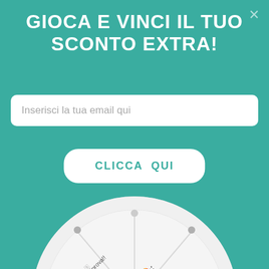GIOCA E VINCI IL TUO SCONTO EXTRA!
Inserisci la tua email qui
CLICCA QUI
[Figure (illustration): A prize spinning wheel showing segments with text including '-10%', 'Riprova!!', 'Riprova ancora!', '-15%', 'Oh no!', 'Peccato!' with a pointer arrow on the right side]